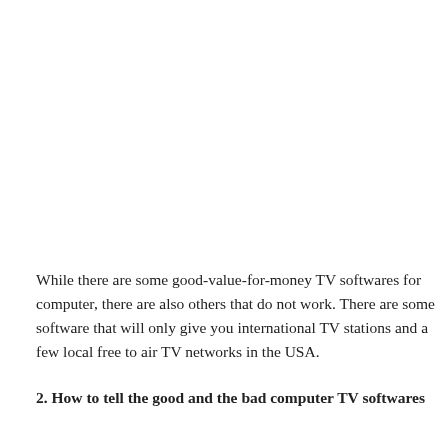While there are some good-value-for-money TV softwares for computer, there are also others that do not work. There are some software that will only give you international TV stations and a few local free to air TV networks in the USA.
2. How to tell the good and the bad computer TV softwares